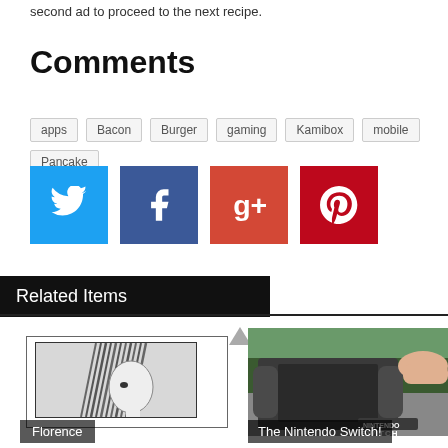second ad to proceed to the next recipe.
Comments
apps
Bacon
Burger
gaming
Kamibox
mobile
Pancake
[Figure (infographic): Social sharing buttons: Twitter (blue), Facebook (dark blue), Google+ (red), Pinterest (red)]
Related Items
[Figure (photo): Florence - manga/anime style illustration of a girl with dark hair]
Florence
[Figure (photo): The Nintendo Switch console with Joy-Con controllers]
The Nintendo Switch!